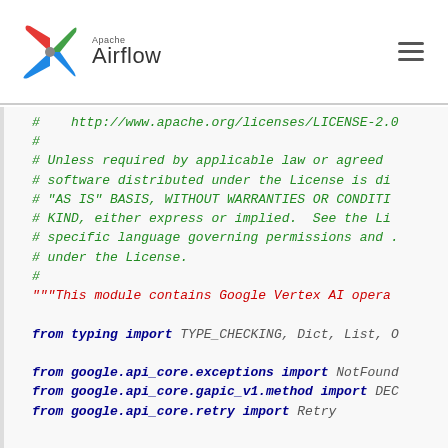[Figure (logo): Apache Airflow logo with colorful windmill icon and text 'Apache Airflow']
#    http://www.apache.org/licenses/LICENSE-2.0
#
# Unless required by applicable law or agreed
# software distributed under the License is di
# "AS IS" BASIS, WITHOUT WARRANTIES OR CONDITI
# KIND, either express or implied.  See the Li
# specific language governing permissions and
# under the License.
#
"""This module contains Google Vertex AI opera

from typing import TYPE_CHECKING, Dict, List, O

from google.api_core.exceptions import NotFound
from google.api_core.gapic_v1.method import DEC
from google.api_core.retry import Retry